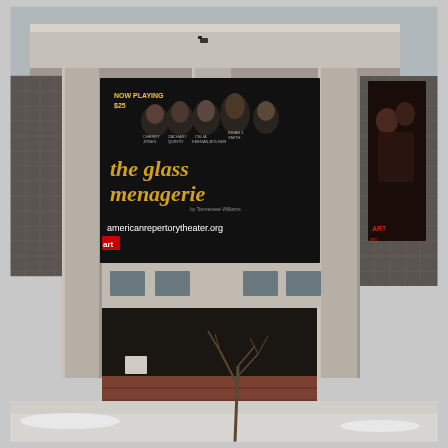[Figure (photo): Exterior photograph of the American Repertory Theater building in winter. The building is a modernist concrete structure with brick and textured dark panels. A large black banner hangs on the facade advertising 'The Glass Menagerie' with the text 'NOW PLAYING $25', actor headshots (Zachary Quinto among others), 'americanrepertorytheater.org', and the ART logo. A second vertical banner on the right side shows a romantic embrace. Bare trees and snow are visible in the foreground. The sky is overcast.]